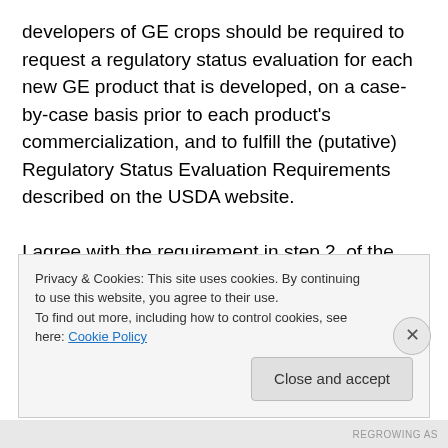developers of GE crops should be required to request a regulatory status evaluation for each new GE product that is developed, on a case-by-case basis prior to each product's commercialization, and to fulfill the (putative) Regulatory Status Evaluation Requirements described on the USDA website.

I agree with the requirement in step 2. of the proposed preliminary/provisional Regulatory Status Evaluation Requirements, requiring that developers provide “The genotype of the modified organism, including a detailed
Privacy & Cookies: This site uses cookies. By continuing to use this website, you agree to their use.
To find out more, including how to control cookies, see here: Cookie Policy
Close and accept
REGROWING AS